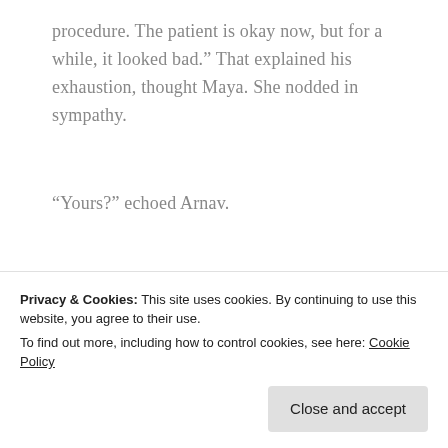procedure. The patient is okay now, but for a while, it looked bad.” That explained his exhaustion, thought Maya. She nodded in sympathy.
“Yours?” echoed Arnav.
[Figure (photo): Partially visible image strip at bottom of main content area, showing light beige/cream tones on left and green/teal colors on right, appears to be a food or lifestyle photo.]
Privacy & Cookies: This site uses cookies. By continuing to use this website, you agree to their use.
To find out more, including how to control cookies, see here: Cookie Policy
Close and accept